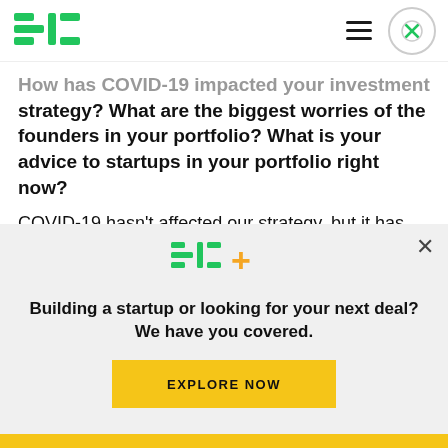TechCrunch logo, hamburger menu, close button
How has COVID-19 impacted your investment strategy? What are the biggest worries of the founders in your portfolio? What is your advice to startups in your portfolio right now?
COVID-19 hasn't affected our strategy, but it has helped us keep our eye on the ball in terms of making sure we stick to our strategy and stay mindful of our own runway — funds have that too!
[Figure (logo): TC+ logo overlay panel with tagline and explore button]
Building a startup or looking for your next deal? We have you covered.